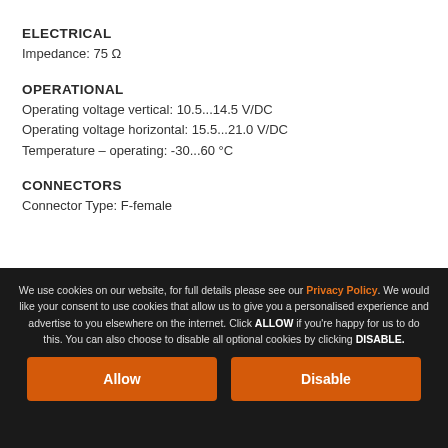ELECTRICAL
Impedance: 75 Ω
OPERATIONAL
Operating voltage vertical: 10.5...14.5 V/DC
Operating voltage horizontal: 15.5...21.0 V/DC
Temperature – operating: -30...60 °C
CONNECTORS
Connector Type: F-female
Reflector type: Offset
Product ... 
Product Width: 85 mm
We use cookies on our website, for full details please see our Privacy Policy. We would like your consent to use cookies that allow us to give you a personalised experience and advertise to you elsewhere on the internet. Click ALLOW if you're happy for us to do this. You can also choose to disable all optional cookies by clicking DISABLE.